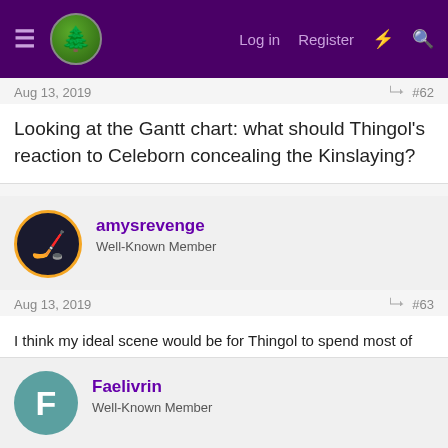Log in  Register
Aug 13, 2019  #62
Looking at the Gantt chart: what should Thingol's reaction to Celeborn concealing the Kinslaying?
amysrevenge
Well-Known Member
Aug 13, 2019  #63
I think my ideal scene would be for Thingol to spend most of his rage against Celeborn, then be calmed down by Luthien (and Celeborn be consoled by her) and then resolve into what is really, when you look at the alternatives, a remarkably restrained public response.
Faelivrin
Well-Known Member